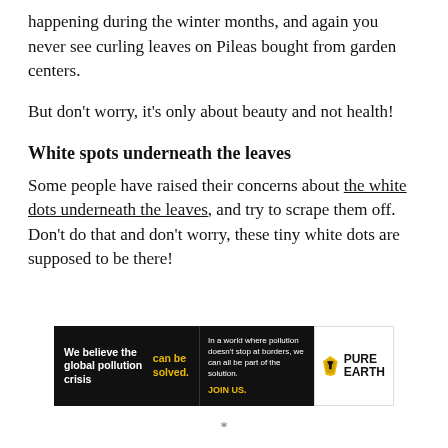happening during the winter months, and again you never see curling leaves on Pileas bought from garden centers.
But don't worry, it's only about beauty and not health!
White spots underneath the leaves
Some people have raised their concerns about the white dots underneath the leaves, and try to scrape them off. Don't do that and don't worry, these tiny white dots are supposed to be there!
[Figure (infographic): Pure Earth advertisement banner with black background on left side reading 'We believe the global pollution crisis can be solved.' with the word 'can be solved.' in yellow, middle section with white text 'In a world where pollution doesn't stop at borders, we can all be part of the solution.' and 'JOIN US.' in yellow, right section with Pure Earth logo (diamond shape with shovel icon) and text 'PURE EARTH' in black on white background.]
*